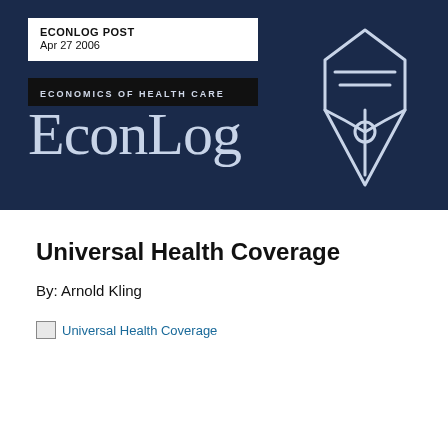ECONLOG POST
Apr 27 2006
ECONOMICS OF HEALTH CARE
EconLog
[Figure (illustration): EconLog banner with dark navy background, white text wordmark 'EconLog', category label 'ECONOMICS OF HEALTH CARE', post date 'Apr 27 2006', and a pen nib icon outline on the right side]
Universal Health Coverage
By: Arnold Kling
[Figure (other): Image placeholder labeled 'Universal Health Coverage']